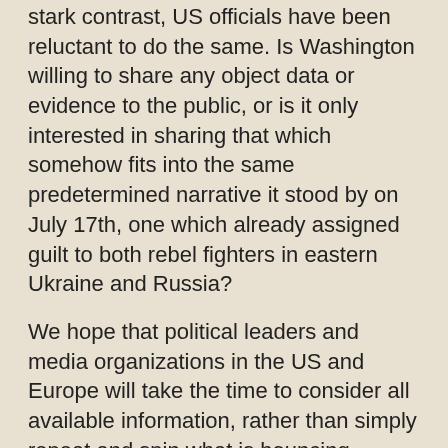stark contrast, US officials have been reluctant to do the same. Is Washington willing to share any object data or evidence to the public, or is it only interested in sharing that which somehow fits into the same predetermined narrative it stood by on July 17th, one which already assigned guilt to both rebel fighters in eastern Ukraine and Russia?
We hope that political leaders and media organizations in the US and Europe will take the time to consider all available information, rather than simply repeat and spin what is bouncing around the media echo chamber. It's also crucial to understand the geopolitical context in which this incident has occurred in order to discover who really possessed the motive, and the means to destroy this passenger aircraft, and which parties stand to benefit most from such an international incident.
After reviewing the evidence, all indicators points